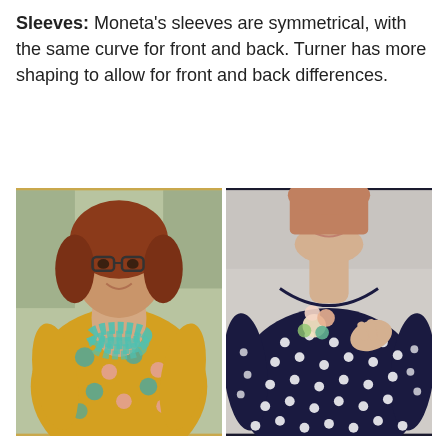Sleeves: Moneta's sleeves are symmetrical, with the same curve for front and back. Turner has more shaping to allow for front and back differences.
[Figure (photo): Two side-by-side photos: Left photo shows a woman wearing a yellow dress with owl print and a teal beaded necklace. Right photo shows a woman wearing a navy blue polka-dot dress with a decorative flower brooch.]